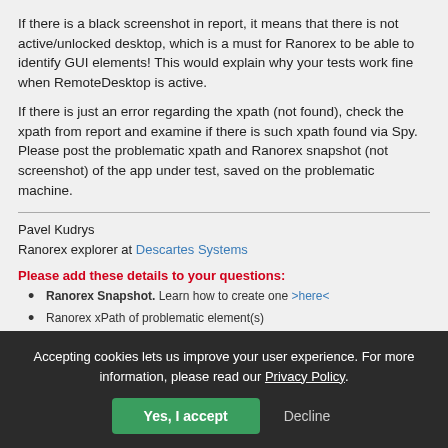If there is a black screenshot in report, it means that there is not active/unlocked desktop, which is a must for Ranorex to be able to identify GUI elements! This would explain why your tests work fine when RemoteDesktop is active.
If there is just an error regarding the xpath (not found), check the xpath from report and examine if there is such xpath found via Spy. Please post the problematic xpath and Ranorex snapshot (not screenshot) of the app under test, saved on the problematic machine.
Pavel Kudrys
Ranorex explorer at Descartes Systems
Please add these details to your questions:
Ranorex Snapshot. Learn how to create one >here<
Ranorex xPath of problematic element(s)
Ranorex version
OS version
Accepting cookies lets us improve your user experience. For more information, please read our Privacy Policy.